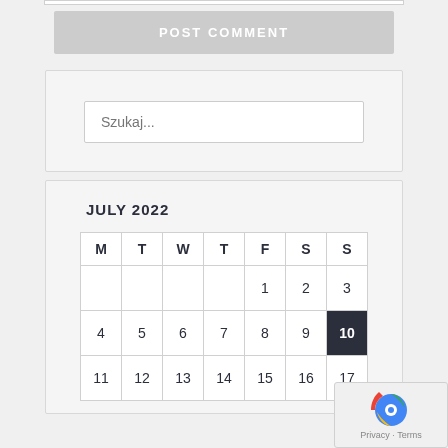POST COMMENT
Szukaj...
JULY 2022
| M | T | W | T | F | S | S |
| --- | --- | --- | --- | --- | --- | --- |
|  |  |  |  | 1 | 2 | 3 |
| 4 | 5 | 6 | 7 | 8 | 9 | 10 |
| 11 | 12 | 13 | 14 | 15 | 16 | 17 |